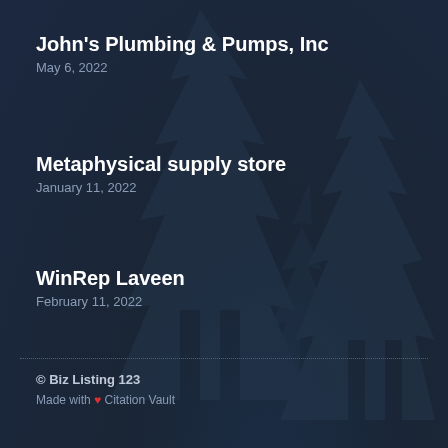John's Plumbing & Pumps, Inc
May 6, 2022
Metaphysical supply store
January 11, 2022
WinRep Laveen
February 11, 2022
© Biz Listing 123
Made with ♥ Citation Vault